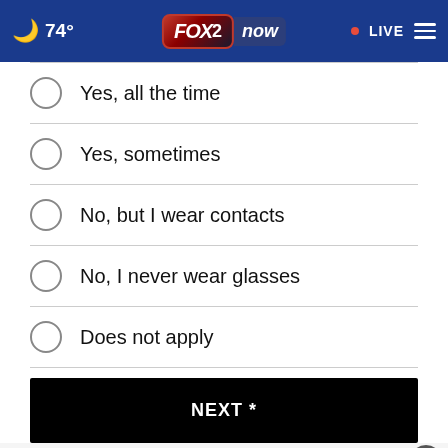🌙 74° | FOX 2 now | • LIVE
Yes, all the time
Yes, sometimes
No, but I wear contacts
No, I never wear glasses
Does not apply
NEXT *
* By clicking "NEXT" you agree to the following: We use cookies to continue...
[Figure (logo): FOX 2 Studio STL FOX2now advertisement banner]